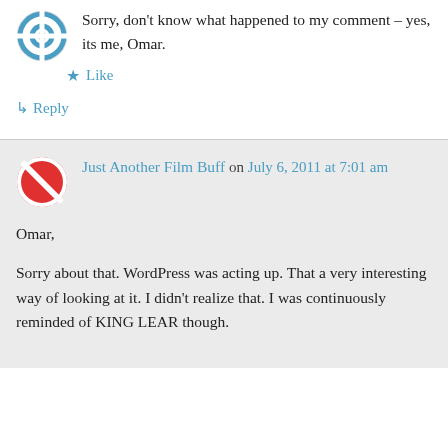Sorry, don't know what happened to my comment – yes, its me, Omar.
Like
Reply
Just Another Film Buff on July 6, 2011 at 7:01 am
Omar,

Sorry about that. WordPress was acting up. That a very interesting way of looking at it. I didn't realize that. I was continuously reminded of KING LEAR though.